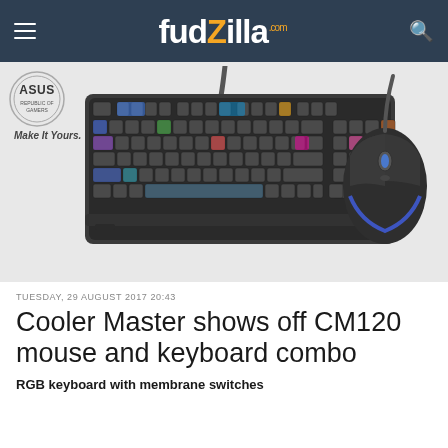fudzilla.com
[Figure (photo): ASUS logo with 'Make It Yours.' tagline, and a Cooler Master CM120 RGB keyboard with membrane switches alongside a gaming mouse, both in dark/black color with RGB lighting.]
TUESDAY, 29 AUGUST 2017 20:43
Cooler Master shows off CM120 mouse and keyboard combo
RGB keyboard with membrane switches